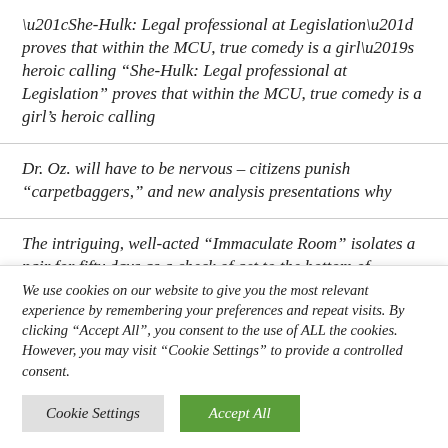“She-Hulk: Legal professional at Legislation” proves that within the MCU, true comedy is a girl’s heroic calling
Dr. Oz. will have to be nervous – citizens punish “carpetbaggers,” and new analysis presentations why
The intriguing, well-acted “Immaculate Room” isolates a pair for fifty days as a check of get to the bottom of
“Intrusion of faith”: Texas GOP forces public colleges…
We use cookies on our website to give you the most relevant experience by remembering your preferences and repeat visits. By clicking “Accept All”, you consent to the use of ALL the cookies. However, you may visit “Cookie Settings” to provide a controlled consent.